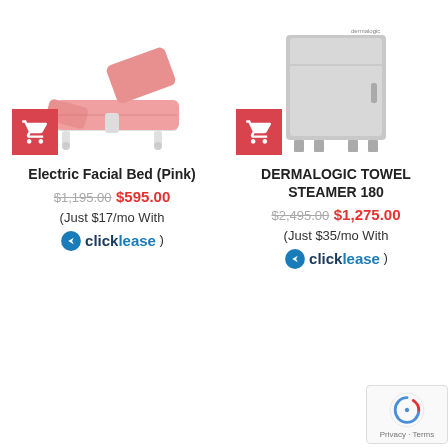[Figure (photo): Pink electric facial bed/treatment chair with adjustable sections and white metal frame with wheels]
[Figure (photo): Dermalogic stainless steel towel steamer cabinet on legs]
Electric Facial Bed (Pink)
DERMALOGIC TOWEL STEAMER 180
$1,195.00 $595.00 (Just $17/mo With clicklease)
$2,495.00 $1,275.00 (Just $35/mo With clicklease)